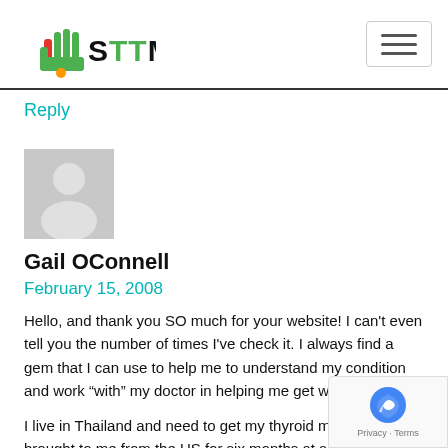STTM logo and navigation
Reply
[Figure (illustration): Generic user avatar silhouette on gray background]
Gail OConnell
February 15, 2008
Hello, and thank you SO much for your website! I can't even tell you the number of times I've check it. I always find a gem that I can use to help me to understand my condition and work “with” my doctor in helping me get well.
I live in Thailand and need to get my thyroid medication brought to me from the US for six months at a time. U... January, I was on a “generic” Amour, but in January, I started